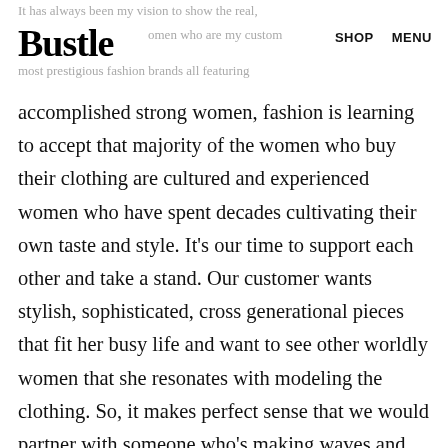It has always been my vision to show the real... women who are my customers... most prestigious fashion brands all featuring
Bustle
SHOP   MENU
accomplished strong women, fashion is learning to accept that majority of the women who buy their clothing are cultured and experienced women who have spent decades cultivating their own taste and style. It’s our time to support each other and take a stand. Our customer wants stylish, sophisticated, cross generational pieces that fit her busy life and want to see other worldly women that she resonates with modeling the clothing. So, it makes perfect sense that we would partner with someone who’s making waves and showing that fashion doesn’t have an age restriction.”